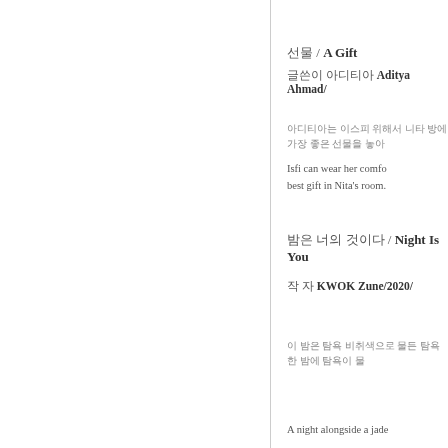선물 / A Gift
글쓴이 아디티야 Aditya Ahmad/
아디티아는 이스피 위해서 니타 방에 가장 좋은 선물을 놓아
Isfi can wear her comfo... best gift in Nita's room.
밤은 너의 것이다 / Night Is You...
작 자 KWOK Zune/2020/
이 밤은 탐욕 비취색으로 물든 탐욕 한 밤에 탐욕이 물
A night alongside a jade...